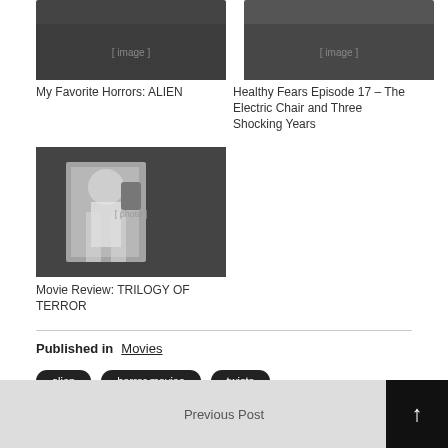[Figure (photo): Thumbnail image for My Favorite Horrors: ALIEN article]
My Favorite Horrors: ALIEN
[Figure (photo): Thumbnail image for Healthy Fears Episode 17 article]
Healthy Fears Episode 17 – The Electric Chair and Three Shocking Years
[Figure (photo): Thumbnail image for Movie Review: TRILOGY OF TERROR - shows person in white shirt holding camera]
Movie Review: TRILOGY OF TERROR
Published in  Movies
alien
horror movies
twists
Previous Post